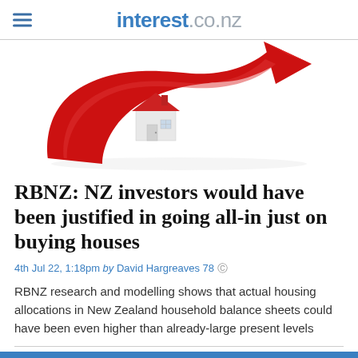interest.co.nz
[Figure (illustration): A red curved upward arrow with a small white house model sitting in its curve, symbolizing rising real estate/housing prices.]
RBNZ: NZ investors would have been justified in going all-in just on buying houses
4th Jul 22, 1:18pm by David Hargreaves 78
RBNZ research and modelling shows that actual housing allocations in New Zealand household balance sheets could have been even higher than already-large present levels